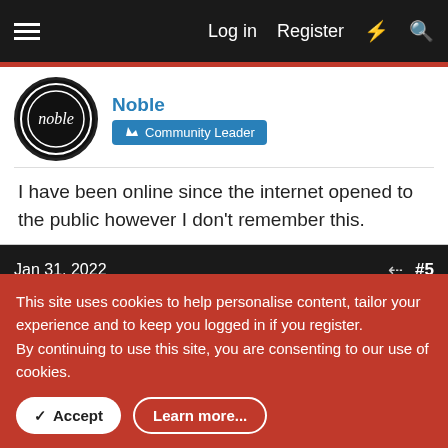Log in   Register
Noble
Community Leader
I have been online since the internet opened to the public however I don't remember this.
Jan 31, 2022   #5
PGen98
Valued Member
This site uses cookies to help personalise content, tailor your experience and to keep you logged in if you register.
By continuing to use this site, you are consenting to our use of cookies.
Accept   Learn more...